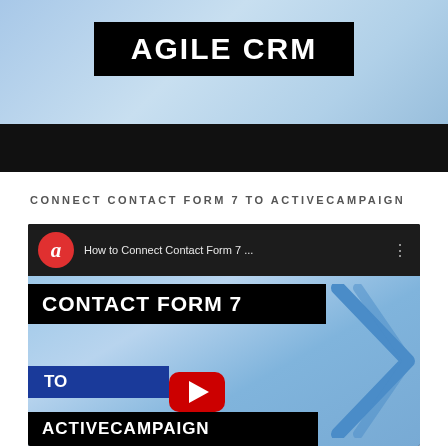[Figure (screenshot): Top portion of a video thumbnail showing Agile CRM logo text in white on black bar, over a light blue gradient background, with a dark black strip below]
CONNECT CONTACT FORM 7 TO ACTIVECAMPAIGN
[Figure (screenshot): YouTube video thumbnail for 'How to Connect Contact Form 7 to ActiveCampaign' showing Contact Form 7 text in white on black bar, a blue TO bar, YouTube play button, arrow shape, and ActiveCampaign text, all on a light blue gradient background]